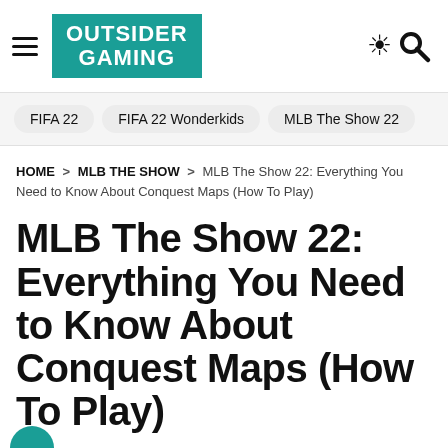Outsider Gaming — navigation header with logo, hamburger menu, moon icon, and search icon
FIFA 22   FIFA 22 Wonderkids   MLB The Show 22
HOME > MLB THE SHOW > MLB The Show 22: Everything You Need to Know About Conquest Maps (How To Play)
MLB The Show 22: Everything You Need to Know About Conquest Maps (How To Play)
Here's everything you need to know about completing Conquest maps in MLB The Show 22.